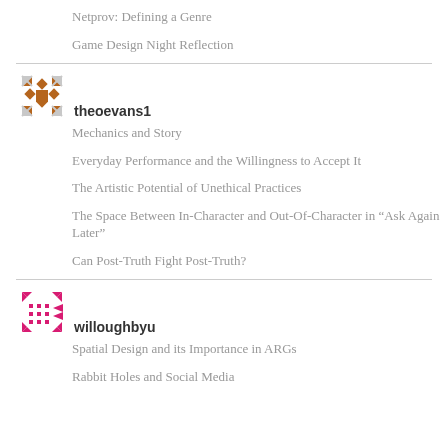Netprov: Defining a Genre
Game Design Night Reflection
theoevans1
Mechanics and Story
Everyday Performance and the Willingness to Accept It
The Artistic Potential of Unethical Practices
The Space Between In-Character and Out-Of-Character in “Ask Again Later”
Can Post-Truth Fight Post-Truth?
willoughbyu
Spatial Design and its Importance in ARGs
Rabbit Holes and Social Media